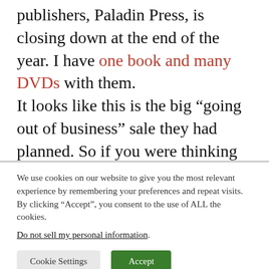publishers, Paladin Press, is closing down at the end of the year. I have one book and many DVDs with them. It looks like this is the big “going out of business” sale they had planned. So if you were thinking of getting some of my stuff, now might be the time. The details: Use code OCT50 at checkout.
We use cookies on our website to give you the most relevant experience by remembering your preferences and repeat visits. By clicking “Accept”, you consent to the use of ALL the cookies. Do not sell my personal information.